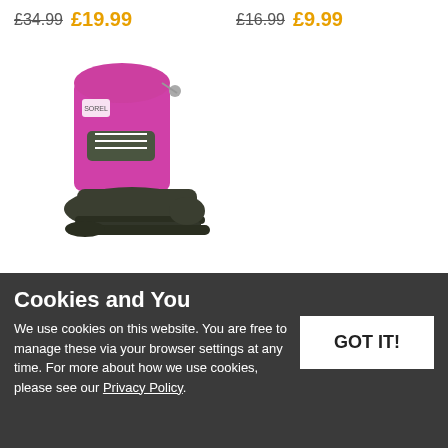£34.99  £19.99
£16.99  £9.99
[Figure (photo): Pink and dark grey Sorel Super Trooper Snow Boot with rubber sole and lace-up detail]
Sorel Super Trooper Snow Boot
Trezeta Chinook Mid NV
£54.99  £29.99
£85.00
Cookies and You
We use cookies on this website. You are free to manage these via your browser settings at any time. For more about how we use cookies, please see our Privacy Policy.